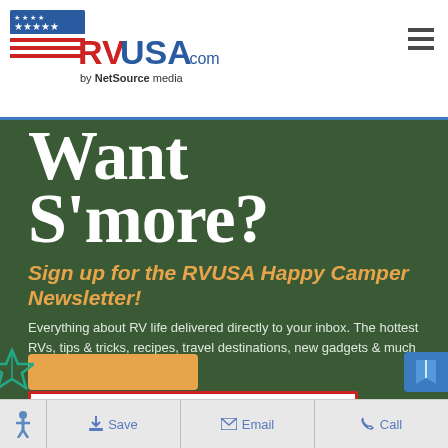[Figure (logo): RVUSA.com by NetSource media logo with American flag graphic]
Want S'more?
Sign up for the RVUSA Happy Camper Newsletter!
Everything about RV life delivered directly to your inbox. The hottest RVs, tips & tricks, recipes, travel destinations, new gadgets & much more!
Your Email
Save | Email | Call